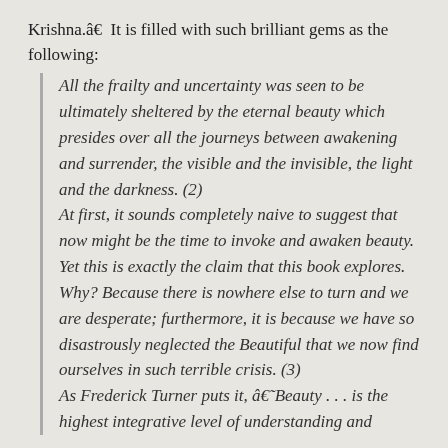Krishna.â€  It is filled with such brilliant gems as the following:
All the frailty and uncertainty was seen to be ultimately sheltered by the eternal beauty which presides over all the journeys between awakening and surrender, the visible and the invisible, the light and the darkness. (2) At first, it sounds completely naive to suggest that now might be the time to invoke and awaken beauty. Yet this is exactly the claim that this book explores. Why? Because there is nowhere else to turn and we are desperate; furthermore, it is because we have so disastrously neglected the Beautiful that we now find ourselves in such terrible crisis. (3) As Frederick Turner puts it, â€˜Beauty . . . is the highest integrative level of understanding and